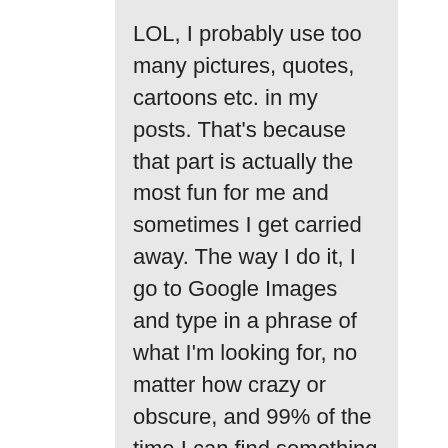LOL, I probably use too many pictures, quotes, cartoons etc. in my posts. That's because that part is actually the most fun for me and sometimes I get carried away. The way I do it, I go to Google Images and type in a phrase of what I'm looking for, no matter how crazy or obscure, and 99% of the time I can find something that fits perfectly. I especially love using cartoons. Be careful when using images though, if it's not a stock photo or is original artwork without the artist's name on it you